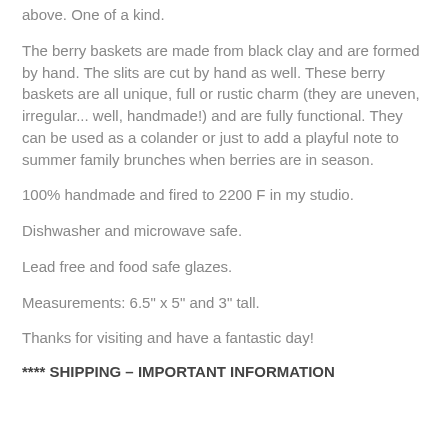above. One of a kind.
The berry baskets are made from black clay and are formed by hand. The slits are cut by hand as well. These berry baskets are all unique, full or rustic charm (they are uneven, irregular... well, handmade!) and are fully functional. They can be used as a colander or just to add a playful note to summer family brunches when berries are in season.
100% handmade and fired to 2200 F in my studio.
Dishwasher and microwave safe.
Lead free and food safe glazes.
Measurements: 6.5" x 5" and 3" tall.
Thanks for visiting and have a fantastic day!
**** SHIPPING – IMPORTANT INFORMATION